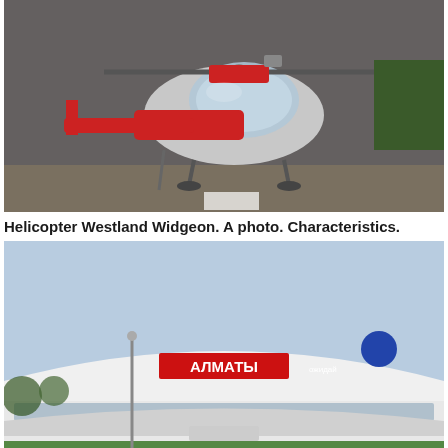[Figure (photo): Red and silver Westland Widgeon helicopter displayed in a hangar, viewed from the side-front. The helicopter has a red fuselage with silver cockpit bubble and red rotor. Other aircraft visible in background.]
Helicopter Westland Widgeon. A photo. Characteristics.
[Figure (photo): Almaty Airport exterior with Cyrillic sign reading АЛМАТЫ, a curved white terminal building, and a parking lot filled with cars in the foreground.]
Almaty Airport
LAST NEWS:
[Figure (photo): Infrared or night-vision photograph showing dark industrial or aircraft ground equipment with green highlights and markings.]